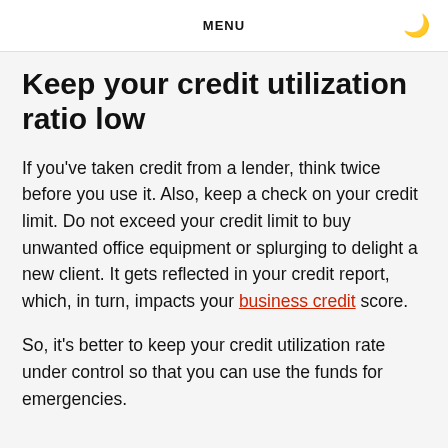MENU
Keep your credit utilization ratio low
If you've taken credit from a lender, think twice before you use it. Also, keep a check on your credit limit. Do not exceed your credit limit to buy unwanted office equipment or splurging to delight a new client. It gets reflected in your credit report, which, in turn, impacts your business credit score.
So, it's better to keep your credit utilization rate under control so that you can use the funds for emergencies.